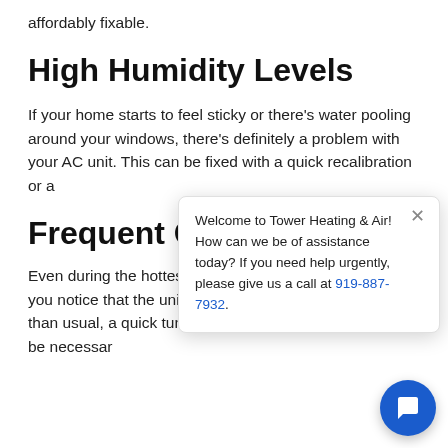affordably fixable.
High Humidity Levels
If your home starts to feel sticky or there's water pooling around your windows, there's definitely a problem with your AC unit. This can be fixed with a quick recalibration or a
Frequent Cy
Even during the hottes should run at steady intervals. If you notice that the unit is starting and stopping more than usual, a quick tune-in up, or even a new unit, may be necessar
Welcome to Tower Heating & Air! How can we be of assistance today? If you need help urgently, please give us a call at 919-887-7932.